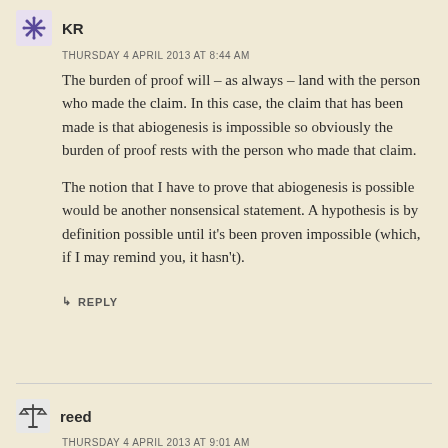KR
THURSDAY 4 APRIL 2013 AT 8:44 AM
The burden of proof will – as always – land with the person who made the claim. In this case, the claim that has been made is that abiogenesis is impossible so obviously the burden of proof rests with the person who made that claim.
The notion that I have to prove that abiogenesis is possible would be another nonsensical statement. A hypothesis is by definition possible until it's been proven impossible (which, if I may remind you, it hasn't).
↳ REPLY
reed
THURSDAY 4 APRIL 2013 AT 9:01 AM